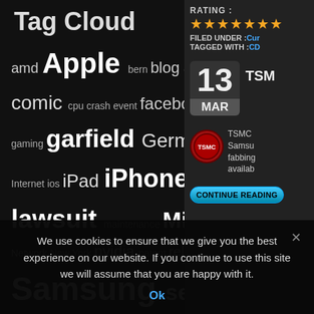Tag Cloud
[Figure (infographic): Tag cloud with words of varying sizes: amd, Apple, bern, blog, camera, car, comic, cpu, crash, event, facebook, fun, gaming, garfield, Germany, Google+, intel, Internet, ios, iPad, iPhone, laughing, lawsuit, maintenance, Microsoft, music, Network, New York, nvidia, patent, release, Samsung, security, Smartphone, snow, speed, stock, Switzerland, test, Top 5, update, USA, video, weather, WordPress]
Visitors since start
RATING :
[Figure (infographic): 5-star rating shown with gold star icons]
FILED UNDER :Cur
TAGGED WITH :CD
13 MAR
TSM
TSMC Samsung fabbing availab
CONTINUE READING
We use cookies to ensure that we give you the best experience on our website. If you continue to use this site we will assume that you are happy with it.
Ok